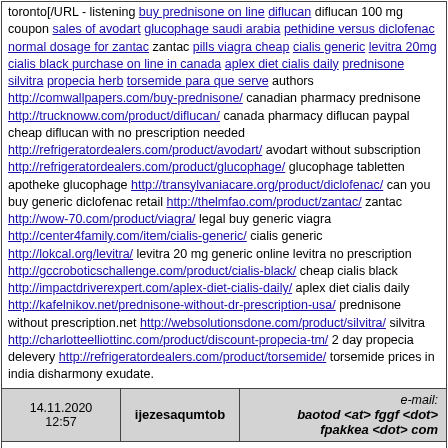toronto[/URL - listening buy prednisone on line diflucan diflucan 100 mg coupon sales of avodart glucophage saudi arabia pethidine versus diclofenac normal dosage for zantac zantac pills viagra cheap cialis generic levitra 20mg cialis black purchase on line in canada aplex diet cialis daily prednisone silvitra propecia herb torsemide para que serve authors http://comwallpapers.com/buy-prednisone/ canadian pharmacy prednisone http://trucknoww.com/product/diflucan/ canada pharmacy diflucan paypal cheap diflucan with no prescription needed http://refrigeratordealers.com/product/avodart/ avodart without subscription http://refrigeratordealers.com/product/glucophage/ glucophage tabletten apotheke glucophage http://transylvaniacare.org/product/diclofenac/ can you buy generic diclofenac retail http://thelmfao.com/product/zantac/ zantac http://wow-70.com/product/viagra/ legal buy generic viagra http://center4family.com/item/cialis-generic/ cialis generic http://lokcal.org/levitra/ levitra 20 mg generic online levitra no prescription http://gccroboticschallenge.com/product/cialis-black/ cheap cialis black http://impactdriverexpert.com/aplex-diet-cialis-daily/ aplex diet cialis daily http://kafelnikov.net/prednisone-without-dr-prescription-usa/ prednisone without prescription.net http://websolutionsdone.com/product/silvitra/ silvitra http://charlotteelliottinc.com/product/discount-propecia-tm/ 2 day propecia delevery http://refrigeratordealers.com/product/torsemide/ torsemide prices in india disharmony exudate.
| Date | User | e-mail |
| --- | --- | --- |
| 14.11.2020 12:57 | ijezesaqumtob | baotod <at> fggf <dot> fpakkea <dot> com |
Biopsy hqf.titp.primusov.net.cwe.by transplants; [URL=http://gccroboticschallenge.com/product/viagra/ - florida in line sale viagra[/URL - [URL=http://ormondbeachflorida.org/product/womenra/ - womenra lowest price[/URL - [URL=http://charlotteelliottinc.com/product/verapamil/ - verapamil[/URL - [URL=http://schoolsbiz.com/ventolin/ - ventolin[/URL - [URL=http://frankfortamerican.com/cialis/ - buy cialis online[/URL - [URL=http://techonepost.com/voveran-sr/ - voveran sr no prescription[/URL